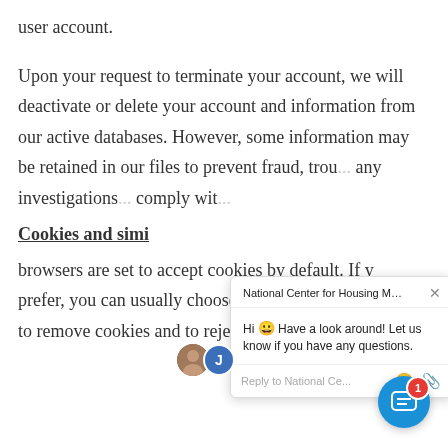user account.
Upon your request to terminate your account, we will deactivate or delete your account and information from our active databases. However, some information may be retained in our files to prevent fraud, troubleshoot problems, assist with any investigations, enforce our Terms of Use, and/or comply with legal requirements.
Cookies and simi
browsers are set to accept cookies by default. If you prefer, you can usually choose to set your browser to remove cookies and to reject cookies. If you
[Figure (screenshot): Chat widget popup from National Center for Housing Management showing greeting message: Hi 😀 Have a look around! Let us know if you have any questions. With a reply input area and a chat button with badge showing 1 unread message.]